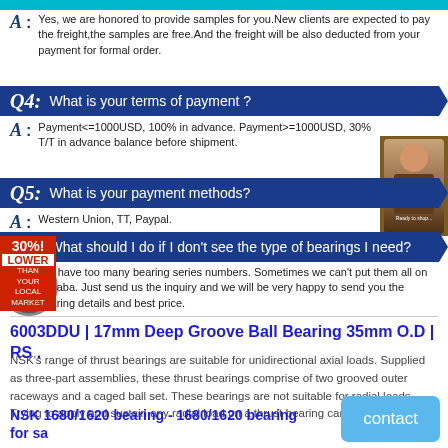A: Yes, we are honored to provide samples for you. New clients are expected to pay the freight,the samples are free.And the freight will be also deducted from your payment for formal order.
Q4: What is your terms of payment ?
A: Payment<=1000USD, 100% in advance. Payment>=1000USD, 30% T/T in advance balance before shipment.
Q5: What is your payment methods?
A: Western Union, TT, Paypal.
Q6: What should I do if I don't see the type of bearings I need?
A: We have too many bearing series numbers. Sometimes we can't put them all on Alibaba. Just send us the inquiry and we will be very happy to send you the bearing details and best price.
6003DDU | 17mm Deep Groove Ball Bearing 35mm O.D | RS .
NSK's range of thrust bearings are suitable for unidirectional axial loads. Supplied as three-part assemblies, these thrust bearings comprise of two grooved outer raceways and a caged ball set. These bearings are not suitable for radial loads. Trying to apply and sustain any radial load on a thrust bearing can ...
NSK 1680/1620 bearing - 1680/1620 bearing for sa